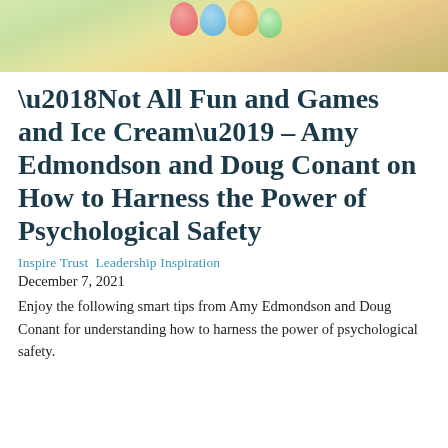[Figure (photo): Photo of colorful balloons (red, blue, orange, green) floating against a soft yellow-green background, partially cropped at top.]
‘Not All Fun and Games and Ice Cream’ – Amy Edmondson and Doug Conant on How to Harness the Power of Psychological Safety
Inspire Trust Leadership Inspiration
December 7, 2021
Enjoy the following smart tips from Amy Edmondson and Doug Conant for understanding how to harness the power of psychological safety.